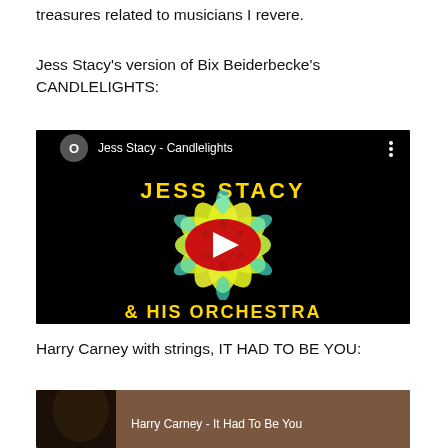treasures related to musicians I revere.
Jess Stacy's version of Bix Beiderbecke's CANDLELIGHTS:
[Figure (screenshot): YouTube video thumbnail for 'Jess Stacy - Candlelights' showing a yellow flower on black background with a red YouTube play button in the center. Top bar shows channel avatar with 'O', video title, and menu dots. Bottom shows partial text '& HIS ORCHESTRA' in yellow on black. Top of thumbnail shows 'JESS STACY' in yellow text.]
Harry Carney with strings, IT HAD TO BE YOU:
[Figure (screenshot): Partial YouTube video thumbnail for 'Harry Carney - It Had To Be You' showing a man's face on the left side, partially cut off at bottom of page.]